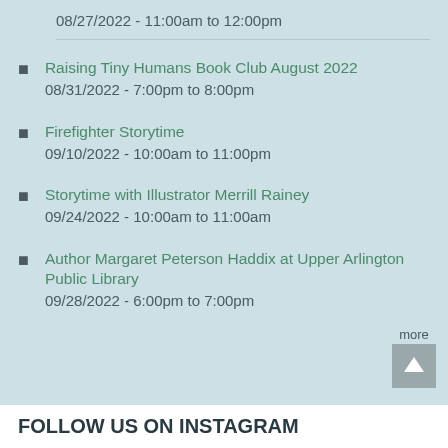08/27/2022 - 11:00am to 12:00pm
Raising Tiny Humans Book Club August 2022
08/31/2022 - 7:00pm to 8:00pm
Firefighter Storytime
09/10/2022 - 10:00am to 11:00pm
Storytime with Illustrator Merrill Rainey
09/24/2022 - 10:00am to 11:00am
Author Margaret Peterson Haddix at Upper Arlington Public Library
09/28/2022 - 6:00pm to 7:00pm
more
FOLLOW US ON INSTAGRAM